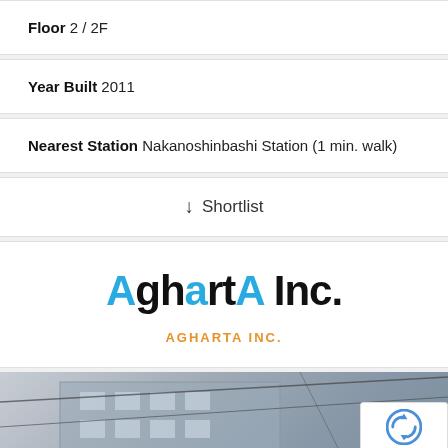Floor 2 / 2F
Year Built 2011
Nearest Station Nakanoshinbashi Station (1 min. walk)
↓ Shortlist
[Figure (logo): AghartA Inc. company logo with blue and black stylized text]
AGHARTA INC.
[Figure (photo): Exterior photo of a multi-story building, partially visible, with utility wires overhead]